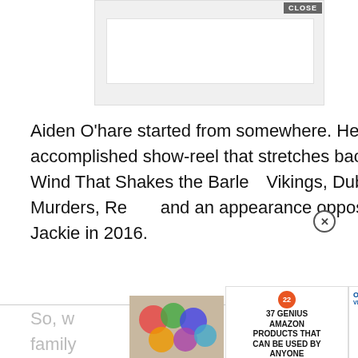[Figure (screenshot): Advertisement banner placeholder with light gray background and white inner box, with a CLOSE button in top right corner]
Aiden O'hare started from somewhere. He has an accomplished show-reel that stretches back to The Wind That Shakes the Barley, Vikings, Dublin Murders, Re[bel], and an appearance oppos[ite] Jackie in 2016.
[Figure (screenshot): Video overlay showing food images (baked eggs in pan on left, cheesy food on right) with play button in center and X close circle button, plus CLOSE button below]
So, w[hat drew] [the] [same] family [to] [what attract]ed me to[...Flew] Over[...mat